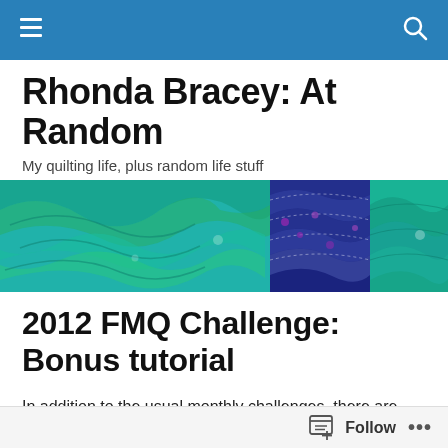Navigation bar with hamburger menu and search icon
Rhonda Bracey: At Random
My quilting life, plus random life stuff
[Figure (photo): A close-up banner image of colourful quilted fabric showing flowing teal, green, blue and purple wave patterns with stitching details.]
2012 FMQ Challenge: Bonus tutorial
In addition to the usual monthly challenges, there are some bonus challenges throughout the year. Back in
Follow  •••